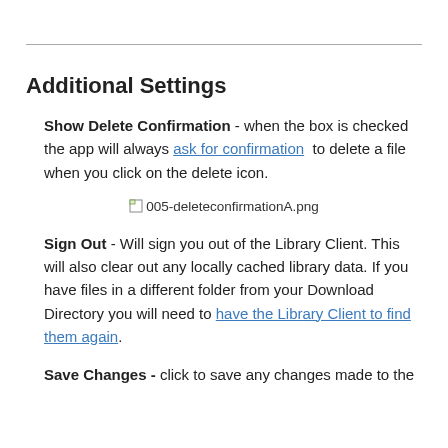Additional Settings
Show Delete Confirmation - when the box is checked the app will always ask for confirmation to delete a file when you click on the delete icon.
[Figure (screenshot): Broken image placeholder showing filename: 005-deleteconfirmationA.png]
Sign Out - Will sign you out of the Library Client. This will also clear out any locally cached library data. If you have files in a different folder from your Download Directory you will need to have the Library Client to find them again.
Save Changes - click to save any changes made to the